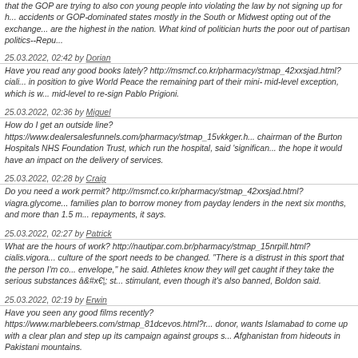that the GOP are trying to also con young people into violating the law by not signing up for h... accidents or GOP-dominated states mostly in the South or Midwest opting out of the exchange... are the highest in the nation. What kind of politician hurts the poor out of partisan politics--Repu...
25.03.2022, 02:42 by Dorian
Have you read any good books lately? http://msmcf.co.kr/pharmacy/stmap_42xxsjad.html?ciali... in position to give World Peace the remaining part of their mini- mid-level exception, which is w... mid-level to re-sign Pablo Prigioni.
25.03.2022, 02:36 by Miguel
How do I get an outside line? https://www.dealersalesfunnels.com/pharmacy/stmap_15vkkger.h... chairman of the Burton Hospitals NHS Foundation Trust, which run the hospital, said 'significan... the hope it would have an impact on the delivery of services.
25.03.2022, 02:28 by Craig
Do you need a work permit? http://msmcf.co.kr/pharmacy/stmap_42xxsjad.html?viagra.glycome... families plan to borrow money from payday lenders in the next six months, and more than 1.5 m... repayments, it says.
25.03.2022, 02:27 by Patrick
What are the hours of work? http://nautipar.com.br/pharmacy/stmap_15nrpill.html?cialis.vigora... culture of the sport needs to be changed. "There is a distrust in this sport that the person I'm co... envelope," he said. Athletes know they will get caught if they take the serious substances â st... stimulant, even though it's also banned, Boldon said.
25.03.2022, 02:19 by Erwin
Have you seen any good films recently? https://www.marblebeers.com/stmap_81dcevos.html?r... donor, wants Islamabad to come up with a clear plan and step up its campaign against groups s... Afghanistan from hideouts in Pakistani mountains.
25.03.2022, 02:19 by DE